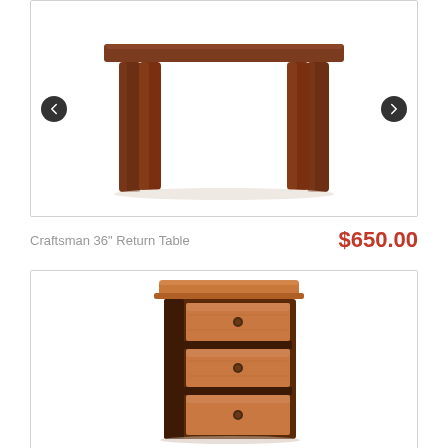[Figure (photo): Craftsman 36 inch Return Table - a wooden table with dark brown finish and four legs, shown from a front-angle view on white background]
Craftsman 36" Return Table
$650.00
[Figure (photo): A wooden file cabinet/pedestal with dark brown frame and lighter oak-colored drawer fronts, featuring three drawers with round dark knobs, shown on white background]